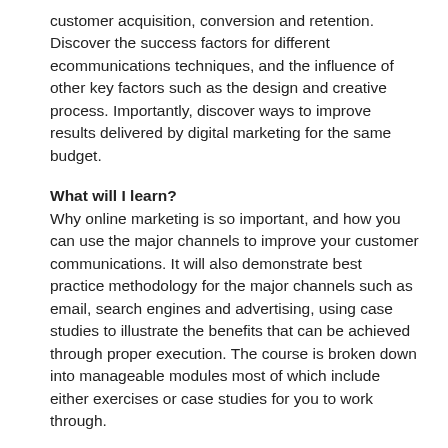customer acquisition, conversion and retention. Discover the success factors for different ecommunications techniques, and the influence of other key factors such as the design and creative process. Importantly, discover ways to improve results delivered by digital marketing for the same budget.
What will I learn?
Why online marketing is so important, and how you can use the major channels to improve your customer communications. It will also demonstrate best practice methodology for the major channels such as email, search engines and advertising, using case studies to illustrate the benefits that can be achieved through proper execution. The course is broken down into manageable modules most of which include either exercises or case studies for you to work through.